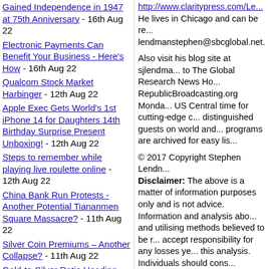Gained Independence in 1947 at 75th Anniversary - 16th Aug 22
Electronic Payments Can Benefit Your Business - Here's How - 16th Aug 22
Qualcom Stock Market Harbinger - 12th Aug 22
Apple Exec Gets World's 1st iPhone 14 for Daughters 14th Birthday Surprise Present Unboxing! - 12th Aug 22
Steps to remember while playing live roulette online - 12th Aug 22
China Bank Run Protests - Another Potential Tiananmen Square Massacre? - 11th Aug 22
Silver Coin Premiums – Another Collapse? - 11th Aug 22
Gold-to-Silver Ratio Heading Lower – Setup Like 1989-03 - 11th Aug 22
Severe Stocks Bear Market: Will You Be...
http://www.claritypress.com/Le... He lives in Chicago and can be reached at lendmanstephen@sbcglobal.net.
Also visit his blog site at sjlendman... to The Global Research News Ho... RepublicBroadcasting.org Monda... US Central time for cutting-edge c... distinguished guests on world an... programs are archived for easy li...
© 2017 Copyright Stephen Lendn... Disclaimer: The above is a matter of information purposes only and is not advice. Information and analysis abo... and utilising methods believed to be r... accept responsibility for any losses y... this analysis. Individuals should cons... financial advisors.
© 2005-2019 http://www.MarketO... Oracle is a FREE Daily Financial Forecasting online publication.